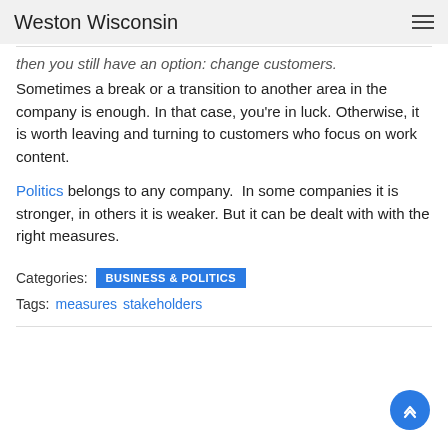Weston Wisconsin
then you still have an option: change customers. Sometimes a break or a transition to another area in the company is enough. In that case, you're in luck. Otherwise, it is worth leaving and turning to customers who focus on work content.
Politics belongs to any company. In some companies it is stronger, in others it is weaker. But it can be dealt with with the right measures.
Categories: BUSINESS & POLITICS
Tags: measures stakeholders